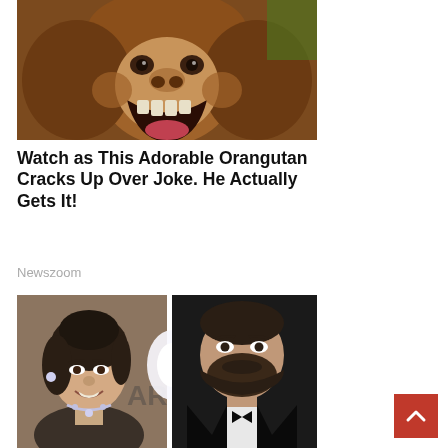[Figure (photo): Close-up photo of a smiling orangutan with mouth open showing teeth and tongue, surrounded by brown fur]
Watch as This Adorable Orangutan Cracks Up Over Joke. He Actually Gets It!
Newszoom
[Figure (photo): Split photo showing a woman with dark hair in an updo wearing a diamond necklace on the left and a bearded man in a tuxedo on the right, at what appears to be a red carpet event]